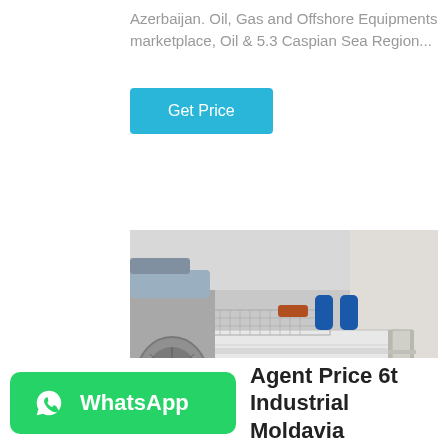Azerbaijan. Oil, Gas and Offshore Equipments marketplace, Oil & 5.3 Caspian Sea Region...
Get Price
[Figure (photo): Industrial machinery - large industrial boiler or steam generator unit inside a warehouse, with blue electric motor, pipes, and metal framework. Chinese branding visible on white enclosure. Metal staircase on right side.]
WhatsApp
Agent Price 6t Industrial Moldavia